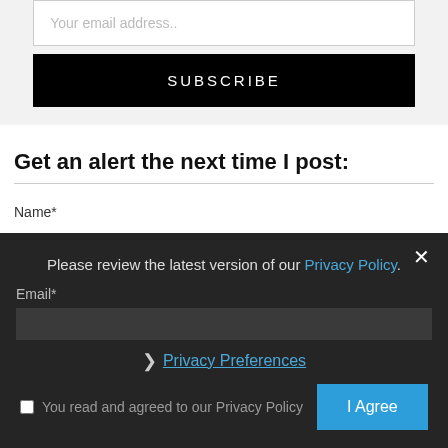Your email address..
SUBSCRIBE
Get an alert the next time I post:
Name*
Please review the latest version of our Privacy Policy.
Email*
Privacy Preferences
I Agree
You read and agreed to our Privacy Policy